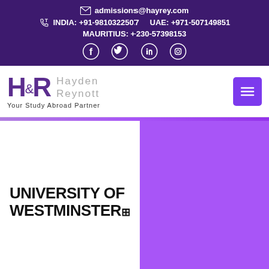admissions@hayrey.com | INDIA: +91-9810322507 | UAE: +971-507149851 | MAURITIUS: +230-57398153
[Figure (logo): Hayden Reynott logo with H&R monogram and tagline 'Your Study Abroad Partner', with purple hamburger menu button]
[Figure (logo): University of Westminster logo — black bold text on white background, with purple background section to the right]